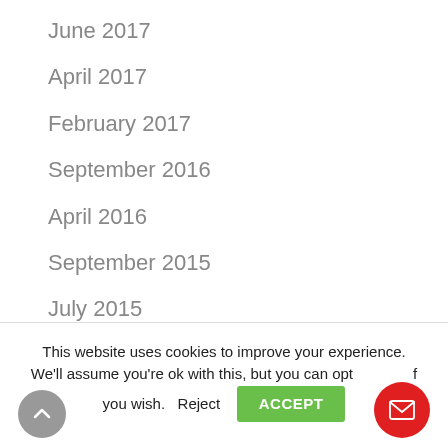June 2017
April 2017
February 2017
September 2016
April 2016
September 2015
July 2015
May 2015
November 2014
February 2014
This website uses cookies to improve your experience. We'll assume you're ok with this, but you can opt-out if you wish.  Reject  ACCEPT